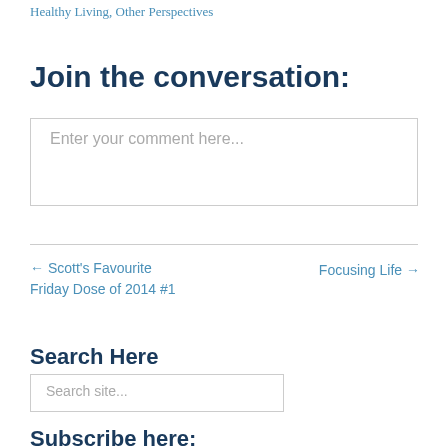Healthy Living, Other Perspectives
Join the conversation:
Enter your comment here...
← Scott's Favourite Friday Dose of 2014 #1
Focusing Life →
Search Here
Search site...
Subscribe here: